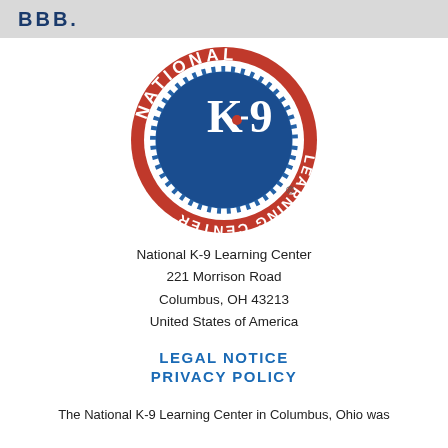BBB.
[Figure (logo): National K-9 Learning Center circular logo: red outer ring with white text 'NATIONAL' at top and 'LEARNING CENTER' at bottom, blue inner circle with 'K-9' in white letters and a red dot, white tooth-like border between rings. Registered trademark symbol bottom right.]
National K-9 Learning Center
221 Morrison Road
Columbus, OH 43213
United States of America
LEGAL NOTICE
PRIVACY POLICY
The National K-9 Learning Center in Columbus, Ohio was